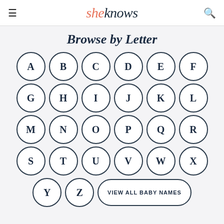sheknows
Browse by Letter
A B C D E F G H I J K L M N O P Q R S T U V W X Y Z VIEW ALL BABY NAMES